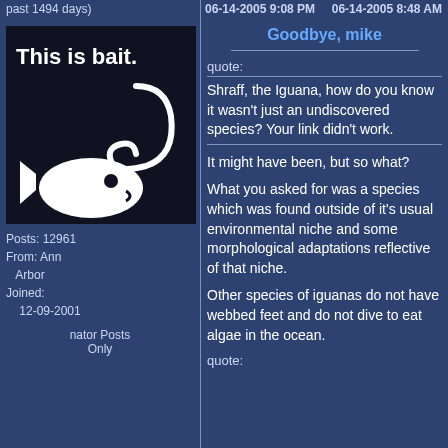past 1494 days)
06-14-2005 9:08 PM
06-14-2005 8:48 AM
[Figure (illustration): Black square image with white text 'This is bait.' and a white fishing hook and fish silhouette graphic]
Posts: 12961
From: Ann Arbor
Joined:
12-09-2001
nator Posts Only
Goodbye, mike
quote:
Shraff, the Iguana, how do you know it wasn't just an undiscovered species? Your link didn't work.
It might have been, but so what?
What you asked for was a species which was found outside of it's usual environmental niche and some morphological adaptations reflective of that niche.
Other species of iguanas do not have webbed feet and do not dive to eat algae in the ocean.
quote: